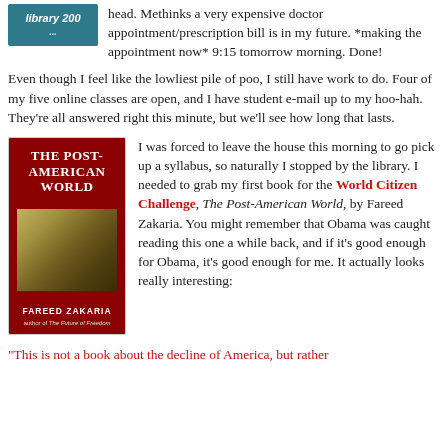head. Methinks a very expensive doctor appointment/prescription bill is in my future. *making the appointment now* 9:15 tomorrow morning. Done!
Even though I feel like the lowliest pile of poo, I still have work to do. Four of my five online classes are open, and I have student e-mail up to my hoo-hah. They're all answered right this minute, but we'll see how long that lasts.
[Figure (illustration): Book cover of The Post-American World by Fareed Zakaria — dark red cover with white bold title text and an abstract cityscape image]
I was forced to leave the house this morning to go pick up a syllabus, so naturally I stopped by the library. I needed to grab my first book for the World Citizen Challenge, The Post-American World, by Fareed Zakaria. You might remember that Obama was caught reading this one a while back, and if it's good enough for Obama, it's good enough for me. It actually looks really interesting:
"This is not a book about the decline of America, but rather